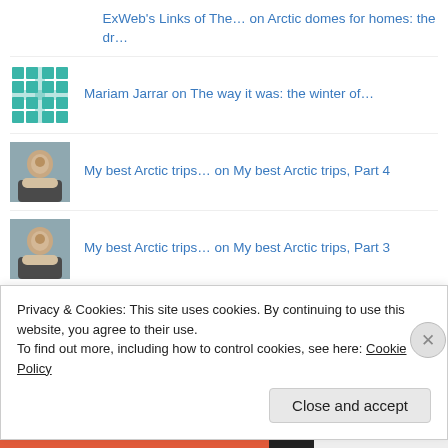ExWeb's Links of The… on Arctic domes for homes: the dr…
Mariam Jarrar on The way it was: the winter of…
My best Arctic trips… on My best Arctic trips, Part 4
My best Arctic trips… on My best Arctic trips, Part 3
My best Arctic trips… on My best Arctic trips, Part 2
My best Arctic trips… on My best Arctic trips ever: Par…
Privacy & Cookies: This site uses cookies. By continuing to use this website, you agree to their use.
To find out more, including how to control cookies, see here: Cookie Policy
Close and accept